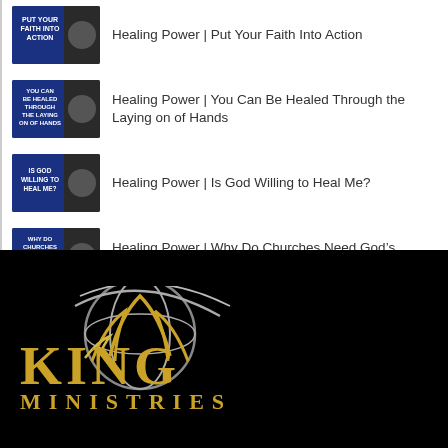Healing Power | Put Your Faith Into Action
Healing Power | You Can Be Healed Through the Laying on of Hands
Healing Power | Is God Willing to Heal Me?
Healing Power | Why Do Churches Need God’s Healing Power?
[Figure (logo): King Ministries logo on black background — gold crown/globe emblem above gold serif text reading KING MINISTRIES]